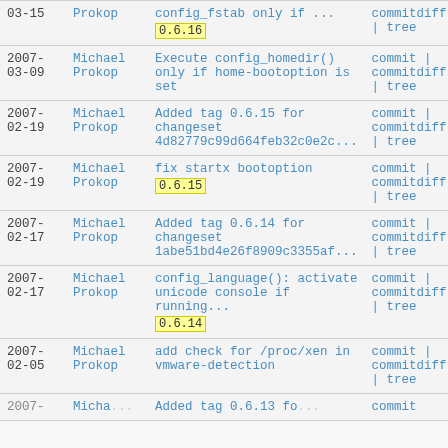| Date | Author | Message | Links |
| --- | --- | --- | --- |
| 2007-03-15 | Michael Prokop | config_fstab only if ... 0.6.16 | commitdiff | tree |
| 2007-03-09 | Michael Prokop | Execute config_homedir() only if home-bootoption is set | commit | commitdiff | tree |
| 2007-02-19 | Michael Prokop | Added tag 0.6.15 for changeset 4d82779c99d664feb32c0e2c... | commit | commitdiff | tree |
| 2007-02-19 | Michael Prokop | fix startx bootoption 0.6.15 | commit | commitdiff | tree |
| 2007-02-17 | Michael Prokop | Added tag 0.6.14 for changeset 1abe51bd4e26f8909c3355af... | commit | commitdiff | tree |
| 2007-02-17 | Michael Prokop | config_language(): activate unicode console if running... 0.6.14 | commit | commitdiff | tree |
| 2007-02-05 | Michael Prokop | add check for /proc/xen in vmware-detection | commit | commitdiff | tree |
| 2007-... | Michael | Added tag 0.6.13... | commit |